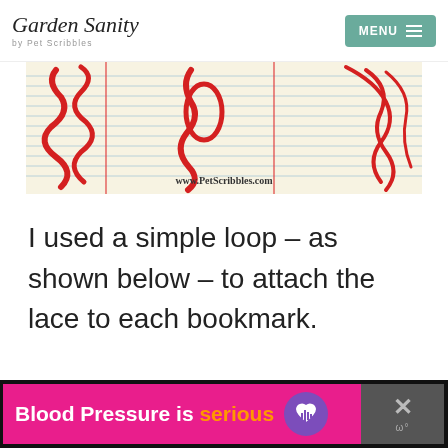Garden Sanity by Pet Scribbles | MENU
[Figure (photo): Close-up photo on notebook paper background showing red lace/ribbon strands, with watermark 'www.PetScribbles.com']
I used a simple loop – as shown below – to attach the lace to each bookmark.
[Figure (photo): Blank white content area placeholder]
Blood Pressure is serious [heart icon]